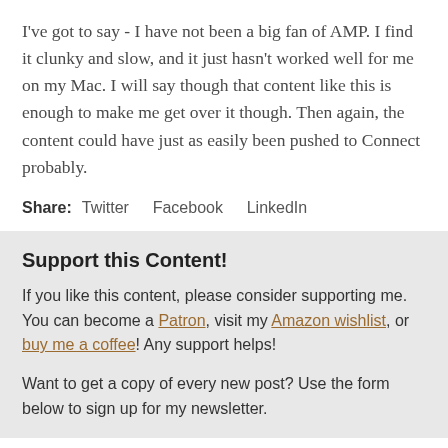I've got to say - I have not been a big fan of AMP. I find it clunky and slow, and it just hasn't worked well for me on my Mac. I will say though that content like this is enough to make me get over it though. Then again, the content could have just as easily been pushed to Connect probably.
Share: Twitter Facebook LinkedIn
Support this Content!
If you like this content, please consider supporting me. You can become a Patron, visit my Amazon wishlist, or buy me a coffee! Any support helps!
Want to get a copy of every new post? Use the form below to sign up for my newsletter.